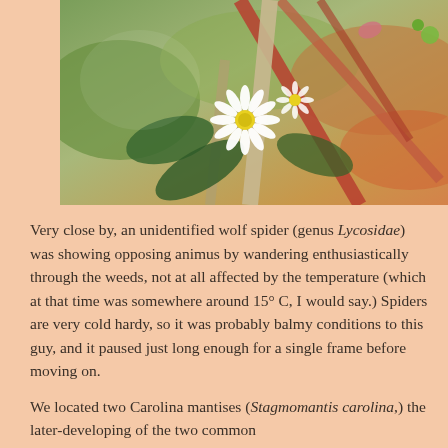[Figure (photo): Close-up macro photograph of small white daisy-like flowers with yellow centers amid green and reddish-brown leaves and stems.]
Very close by, an unidentified wolf spider (genus Lycosidae) was showing opposing animus by wandering enthusiastically through the weeds, not at all affected by the temperature (which at that time was somewhere around 15° C, I would say.) Spiders are very cold hardy, so it was probably balmy conditions to this guy, and it paused just long enough for a single frame before moving on.
We located two Carolina mantises (Stagmomantis carolina,) the later-developing of the two common